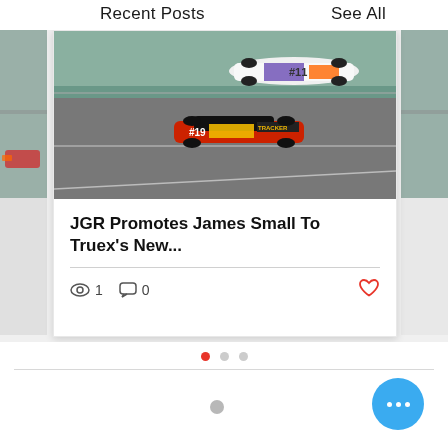Recent Posts    See All
[Figure (photo): NASCAR race cars on track — white #11 FedEx car and red #19 Bass Pro Shops Tracker car racing on asphalt circuit]
JGR Promotes James Small To Truex's New...
Views: 1  Comments: 0  Like
Carousel pagination dots — 3 dots, first active
Floating action button with three dots